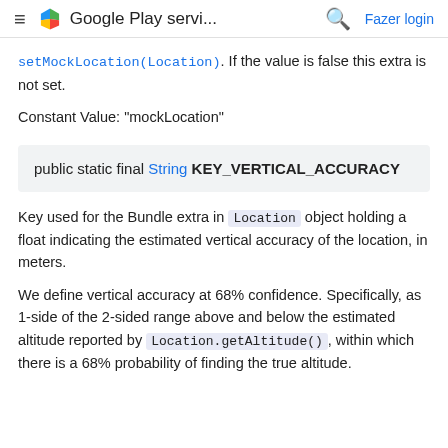≡ Google Play servi... 🔍 Fazer login
setMockLocation(Location). If the value is false this extra is not set.
Constant Value: "mockLocation"
public static final String KEY_VERTICAL_ACCURACY
Key used for the Bundle extra in Location object holding a float indicating the estimated vertical accuracy of the location, in meters.
We define vertical accuracy at 68% confidence. Specifically, as 1-side of the 2-sided range above and below the estimated altitude reported by Location.getAltitude(), within which there is a 68% probability of finding the true altitude.